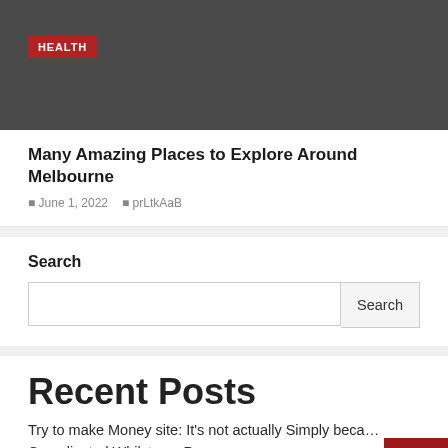[Figure (other): Dark grey banner image with a red HEALTH tag label in the top-left area]
Many Amazing Places to Explore Around Melbourne
June 1, 2022   prLtkAaB
Search
Search input box with Search button
Recent Posts
Try to make Money site: It's not actually Simply because Complicated Whilst you Presume
Month-to-month Money Site: Its Evaluation